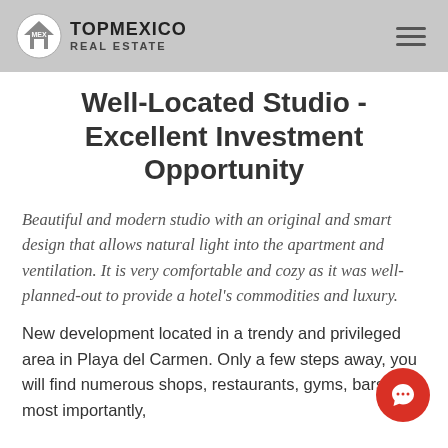TOP MEXICO REAL ESTATE
Well-Located Studio - Excellent Investment Opportunity
Beautiful and modern studio with an original and smart design that allows natural light into the apartment and ventilation. It is very comfortable and cozy as it was well-planned-out to provide a hotel's commodities and luxury.
New development located in a trendy and privileged area in Playa del Carmen. Only a few steps away, you will find numerous shops, restaurants, gyms, bars, and most importantly, beautiful Coco Beach. This area is a very close